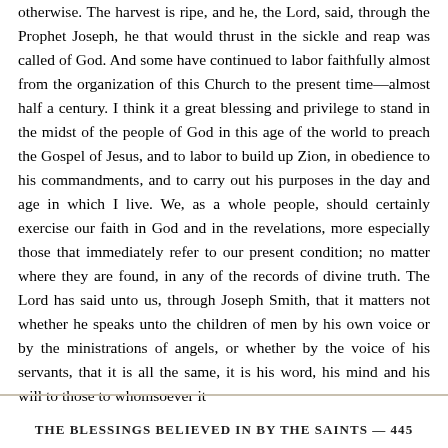otherwise. The harvest is ripe, and he, the Lord, said, through the Prophet Joseph, he that would thrust in the sickle and reap was called of God. And some have continued to labor faithfully almost from the organization of this Church to the present time—almost half a century. I think it a great blessing and privilege to stand in the midst of the people of God in this age of the world to preach the Gospel of Jesus, and to labor to build up Zion, in obedience to his commandments, and to carry out his purposes in the day and age in which I live. We, as a whole people, should certainly exercise our faith in God and in the revelations, more especially those that immediately refer to our present condition; no matter where they are found, in any of the records of divine truth. The Lord has said unto us, through Joseph Smith, that it matters not whether he speaks unto the children of men by his own voice or by the ministrations of angels, or whether by the voice of his servants, that it is all the same, it is his word, his mind and his will to those to whomsoever it
THE BLESSINGS BELIEVED IN BY THE SAINTS — 445